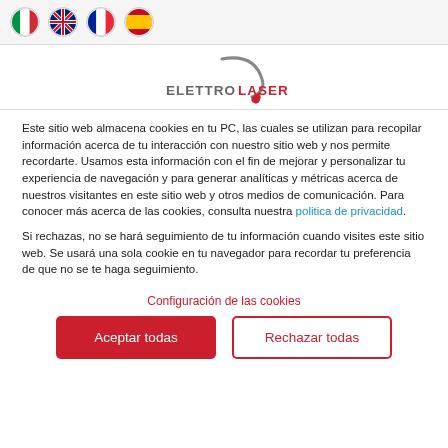Language flag icons: Italian, British, French, Spanish
[Figure (logo): ElettroLaser company logo with stylized arc and text ELETTROLASER in grey and red]
Este sitio web almacena cookies en tu PC, las cuales se utilizan para recopilar información acerca de tu interacción con nuestro sitio web y nos permite recordarte. Usamos esta información con el fin de mejorar y personalizar tu experiencia de navegación y para generar analíticas y métricas acerca de nuestros visitantes en este sitio web y otros medios de comunicación. Para conocer más acerca de las cookies, consulta nuestra política de privacidad.
Si rechazas, no se hará seguimiento de tu información cuando visites este sitio web. Se usará una sola cookie en tu navegador para recordar tu preferencia de que no se te haga seguimiento.
Configuración de las cookies
Aceptar todas
Rechazar todas